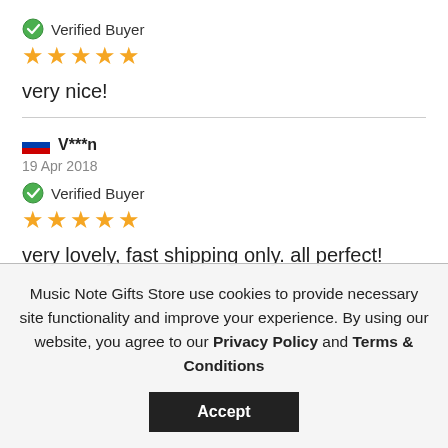Verified Buyer
★★★★★
very nice!
V***n
19 Apr 2018
Verified Buyer
★★★★★
very lovely, fast shipping only. all perfect!
Music Note Gifts Store use cookies to provide necessary site functionality and improve your experience. By using our website, you agree to our Privacy Policy and Terms & Conditions
Accept